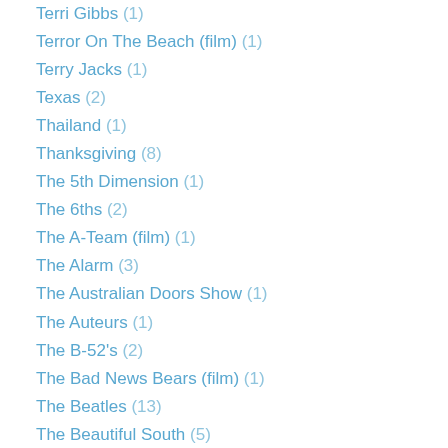Terri Gibbs (1)
Terror On The Beach (film) (1)
Terry Jacks (1)
Texas (2)
Thailand (1)
Thanksgiving (8)
The 5th Dimension (1)
The 6ths (2)
The A-Team (film) (1)
The Alarm (3)
The Australian Doors Show (1)
The Auteurs (1)
The B-52's (2)
The Bad News Bears (film) (1)
The Beatles (13)
The Beautiful South (5)
The Black Sorrows (1)
The Blasters (3)
The Blessing (1)
The Boomtown Rats (3)